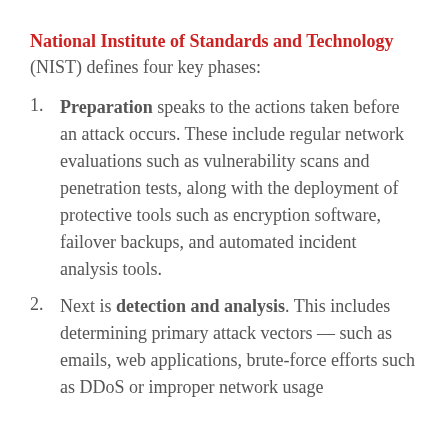National Institute of Standards and Technology (NIST) defines four key phases:
Preparation speaks to the actions taken before an attack occurs. These include regular network evaluations such as vulnerability scans and penetration tests, along with the deployment of protective tools such as encryption software, failover backups, and automated incident analysis tools.
Next is detection and analysis. This includes determining primary attack vectors — such as emails, web applications, brute-force efforts such as DDoS or improper network usage — along with their identifi...